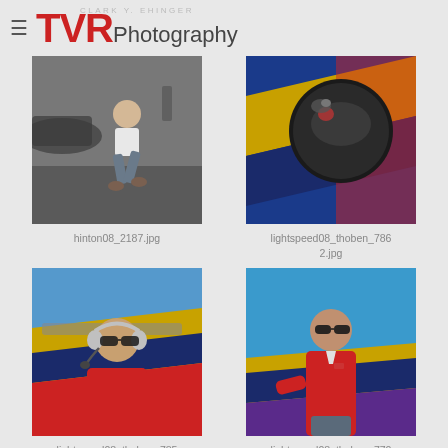TVR Photography
[Figure (photo): Young man in white shirt crouching in front of military aircraft on tarmac, black and white/dark tones]
hinton08_2187.jpg
[Figure (photo): Close-up of black motorcycle/aviation helmet against colorful blue and yellow striped surface with person in red jacket]
lightspeed08_thoben_7862.jpg
[Figure (photo): Pilot wearing headset and sunglasses seated in cockpit of colorful yellow/blue/red aircraft]
lightspeed08_thoben_785
[Figure (photo): Man in red polo shirt wearing sunglasses leaning against colorful aircraft against blue sky]
lightspeed08_thoben_770